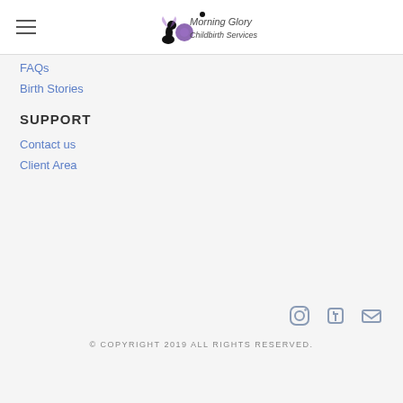[Figure (logo): Morning Glory Childbirth Services logo with fairy silhouette and purple flower]
FAQs
Birth Stories
SUPPORT
Contact us
Client Area
[Figure (infographic): Social media icons: Instagram, Facebook, Mail]
© COPYRIGHT 2019 ALL RIGHTS RESERVED.